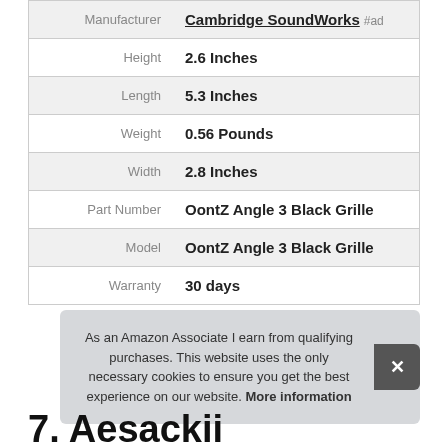| Attribute | Value |
| --- | --- |
| Manufacturer | Cambridge SoundWorks #ad |
| Height | 2.6 Inches |
| Length | 5.3 Inches |
| Weight | 0.56 Pounds |
| Width | 2.8 Inches |
| Part Number | OontZ Angle 3 Black Grille |
| Model | OontZ Angle 3 Black Grille |
| Warranty | 30 days |
As an Amazon Associate I earn from qualifying purchases. This website uses the only necessary cookies to ensure you get the best experience on our website. More information
7. Aesackii